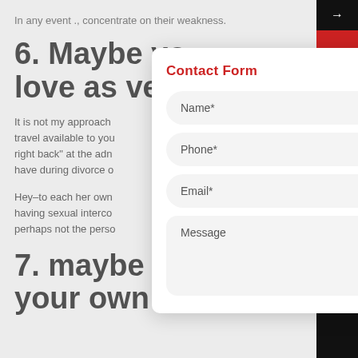In any event ., concentrate on their weakness.
6. Maybe yo love as veng
It is not my approach travel available to you right back” at the adn have during divorce o
Hey–to each her own having sexual interco perhaps not the perso
7. maybe yo your own ex
[Figure (screenshot): Contact Form modal overlay with fields: Name*, Phone*, Email*, Message. Title in red, close button top right.]